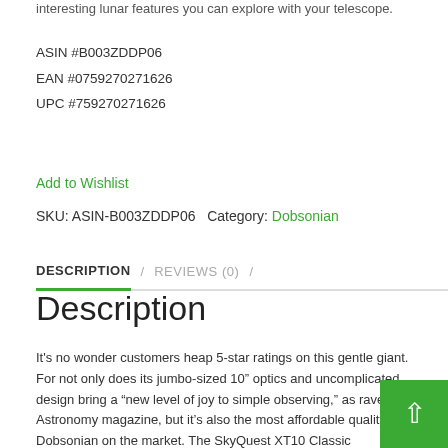interesting lunar features you can explore with your telescope.
ASIN #B003ZDDP06
EAN #0759270271626
UPC #759270271626
Add to Wishlist
SKU: ASIN-B003ZDDP06  Category: Dobsonian
DESCRIPTION / REVIEWS (0) /
Description
It's no wonder customers heap 5-star ratings on this gentle giant. For not only does its jumbo-sized 10" optics and uncomplicated design bring a "new level of joy to simple observing," as raved Astronomy magazine, but it's also the most affordable quality 10" Dobsonian on the market. The SkyQuest XT10 Classic Dobsonian telescope isn't just a good bang for the